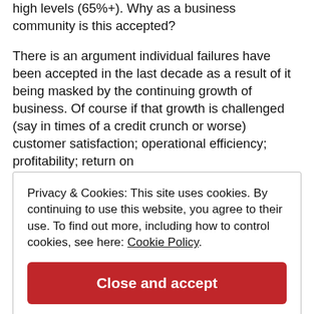high levels (65%+). Why as a business community is this accepted?
There is an argument individual failures have been accepted in the last decade as a result of it being masked by the continuing growth of business. Of course if that growth is challenged (say in times of a credit crunch or worse) customer satisfaction; operational efficiency; profitability; return on
Privacy & Cookies: This site uses cookies. By continuing to use this website, you agree to their use. To find out more, including how to control cookies, see here: Cookie Policy
Close and accept
management where there is increasing pressure